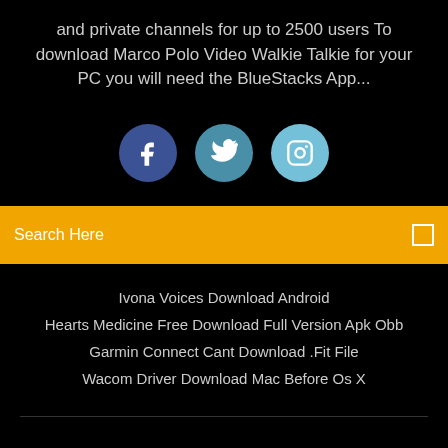and private channels for up to 2500 users To download Marco Polo Video Walkie Talkie for your PC you will need the BlueStacks App...
[Figure (illustration): Three social media icons: Facebook (dark blue circle with 'f'), Twitter (teal circle with bird), Instagram (light blue circle with camera icon)]
Search Here
Ivona Voices Download Android
Hearts Medicine Free Download Full Version Apk Obb
Garmin Connect Cant Download .Fit File
Wacom Driver Download Mac Before Os X
Copyright ©2022 All rights reserved | This template is made with ♡ by Colorlib